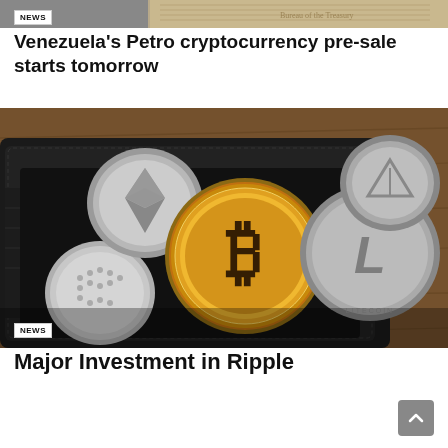[Figure (photo): Top portion of a news article image showing money/currency, partially cropped]
NEWS
Venezuela's Petro cryptocurrency pre-sale starts tomorrow
[Figure (photo): A black leather wallet open with various cryptocurrency coins including a gold Bitcoin coin in center, silver Ethereum, Litecoin, and other altcoin coins spilling out, on a wooden surface]
NEWS
Major Investment in Ripple